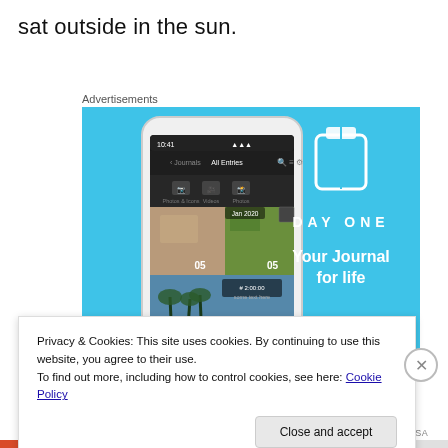sat outside in the sun.
Advertisements
[Figure (screenshot): DayOne app advertisement on a light blue background. Shows a smartphone with the DayOne journal app interface displaying photo entries from Jan 2020. To the right is the DayOne logo (book icon) and text 'DAY ONE - Your Journal for life'.]
Privacy & Cookies: This site uses cookies. By continuing to use this website, you agree to their use.
To find out more, including how to control cookies, see here: Cookie Policy
Close and accept